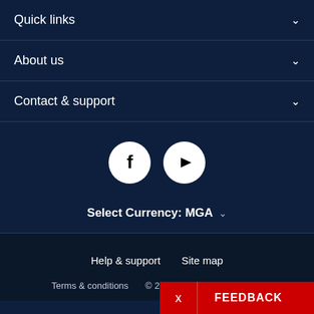Quick links
About us
Contact & support
[Figure (illustration): Social media icons: Facebook (f) and YouTube (play button) as white circles on dark navy background]
Select Currency: MGA
Help & support   Site map
Terms & conditions   © 2022 NZ Post Collectables
x   FEEDBACK